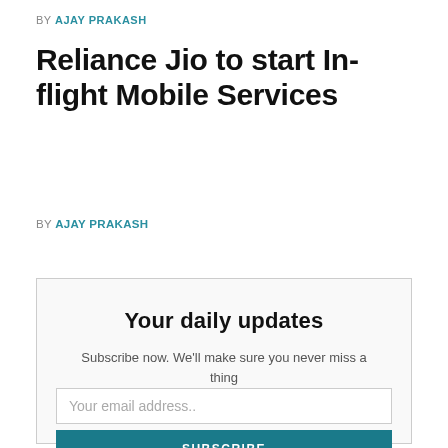BY AJAY PRAKASH
Reliance Jio to start In-flight Mobile Services
BY AJAY PRAKASH
Your daily updates
Subscribe now. We'll make sure you never miss a thing
Your email address..
SUBSCRIBE